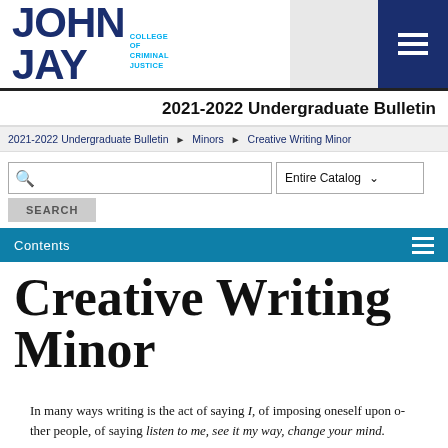[Figure (logo): John Jay College of Criminal Justice logo with blue bold text and cyan subtitle]
2021-2022 Undergraduate Bulletin
2021-2022 Undergraduate Bulletin ▶ Minors ▶ Creative Writing Minor
Search field with Entire Catalog dropdown and SEARCH button
Contents
Creative Writing Minor
In many ways writing is the act of saying I, of imposing oneself upon other people, of saying listen to me, see it my way, change your mind.